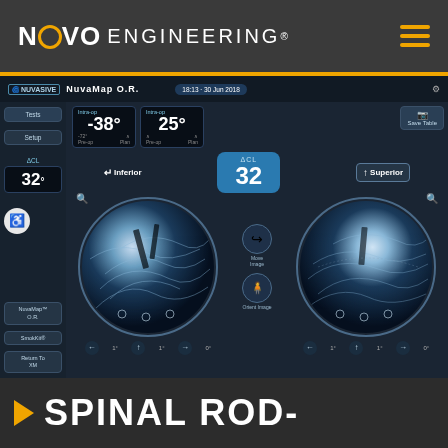NOVO ENGINEERING®
[Figure (screenshot): Screenshot of NuvaMap O.R. surgical navigation interface by NuVasive, showing two circular fluoroscopic views of spinal anatomy with ΔCL measurement of 32, angle readouts of -38° and 25°, labeled Inferior and Superior views, with controls for image manipulation.]
SPINAL ROD-